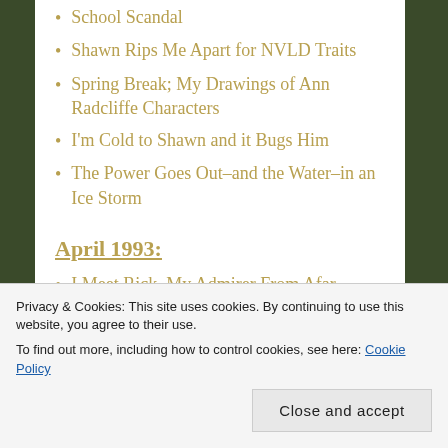School Scandal
Shawn Rips Me Apart for NVLD Traits
Spring Break; My Drawings of Ann Radcliffe Characters
I'm Cold to Shawn and it Bugs Him
The Power Goes Out–and the Water–in an Ice Storm
April 1993:
I Meet Rick, My Admirer From Afar
Ending Friends-with-Benefits for Good–After One Last Time
Privacy & Cookies: This site uses cookies. By continuing to use this website, you agree to their use.
To find out more, including how to control cookies, see here: Cookie Policy
Close and accept